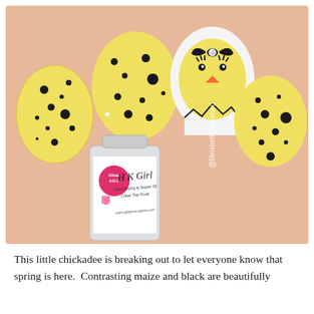[Figure (photo): Close-up photo of decorated nails with yellow and black speckled nail art, one nail featuring a baby chick hatching from an egg with a black bow, and a bottle of HK Girl Fast Drying & Super Strong Clear Top Coat by Glisten & Glow nail polish. The Instagram handle @lifeisbetterpolished is watermarked on the image.]
This little chickadee is breaking out to let everyone know that spring is here.  Contrasting maize and black are beautifully